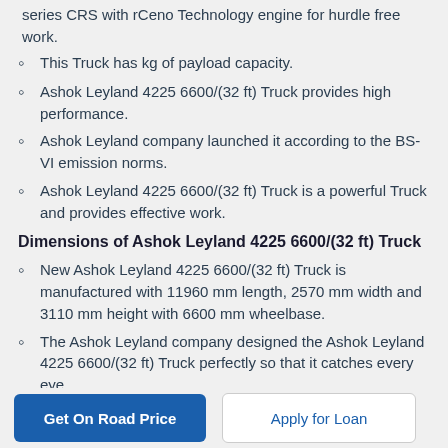series CRS with rCeno Technology engine for hurdle free work.
This Truck has kg of payload capacity.
Ashok Leyland 4225 6600/(32 ft) Truck provides high performance.
Ashok Leyland company launched it according to the BS-VI emission norms.
Ashok Leyland 4225 6600/(32 ft) Truck is a powerful Truck and provides effective work.
Dimensions of Ashok Leyland 4225 6600/(32 ft) Truck
New Ashok Leyland 4225 6600/(32 ft) Truck is manufactured with 11960 mm length, 2570 mm width and 3110 mm height with 6600 mm wheelbase.
The Ashok Leyland company designed the Ashok Leyland 4225 6600/(32 ft) Truck perfectly so that it catches every eye.